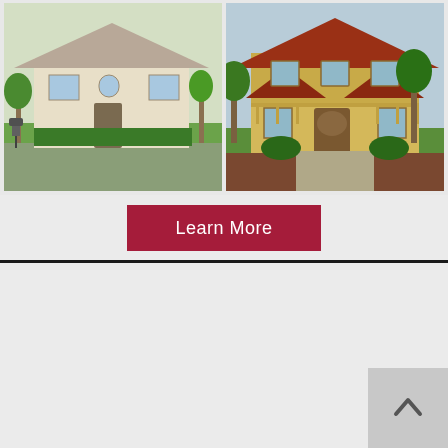[Figure (photo): Photo of a Mediterranean-style single-story residential home with manicured lawn, palm trees, and green landscaping]
[Figure (photo): Photo of a two-story Mediterranean-style luxury home with yellow exterior, red tile roof, palm trees, and landscaped front yard]
Learn More
[Figure (other): Scroll-to-top button with upward-pointing chevron arrow on gray background]